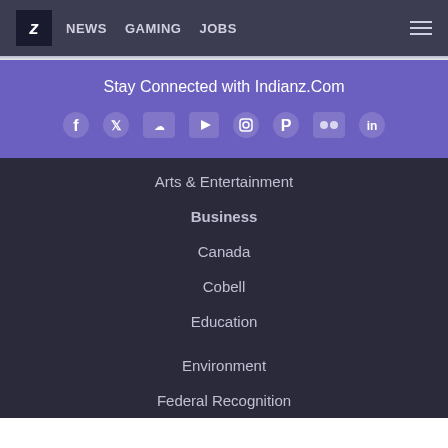Z NEWS GAMING JOBS
Stay Connected with Indianz.Com
[Figure (infographic): Social media icons row: Facebook, Twitter, SoundCloud, YouTube, Instagram, Pinterest, Flickr, LinkedIn]
Arts & Entertainment
Business
Canada
Cobell
Education
Environment
Federal Recognition